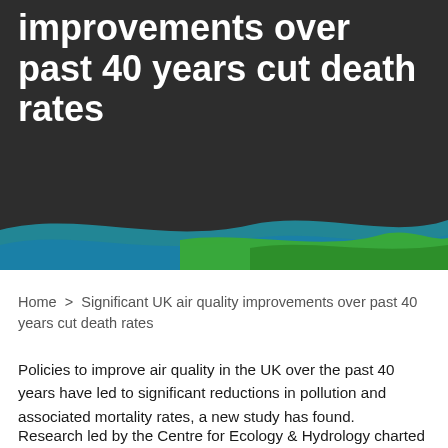improvements over past 40 years cut death rates
[Figure (illustration): Dark grey header background with blue and green wave design at bottom]
Home > Significant UK air quality improvements over past 40 years cut death rates
Policies to improve air quality in the UK over the past 40 years have led to significant reductions in pollution and associated mortality rates, a new study has found.
Research led by the Centre for Ecology & Hydrology charted the levels of emissions of a variety of air pollutants